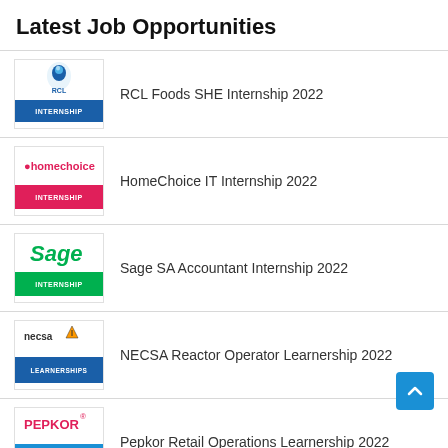Latest Job Opportunities
RCL Foods SHE Internship 2022
HomeChoice IT Internship 2022
Sage SA Accountant Internship 2022
NECSA Reactor Operator Learnership 2022
Pepkor Retail Operations Learnership 2022
Pep Merchandising Graduate Internship 2022